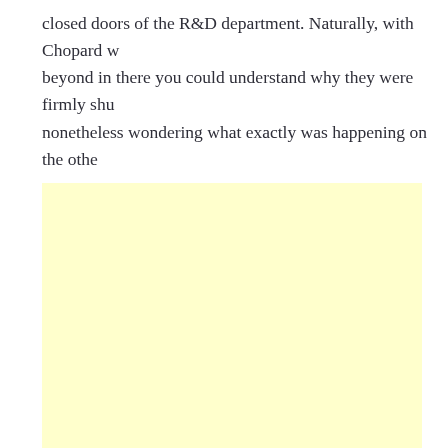closed doors of the R&D department. Naturally, with Chopard w beyond in there you could understand why they were firmly shu nonetheless wondering what exactly was happening on the othe
[Figure (other): A large light yellow rectangular box, blank/empty, occupying most of the lower portion of the page.]